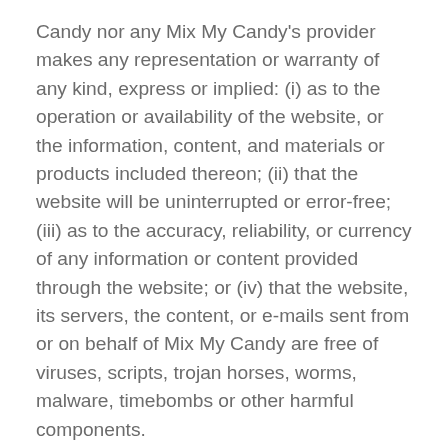Candy nor any Mix My Candy's provider makes any representation or warranty of any kind, express or implied: (i) as to the operation or availability of the website, or the information, content, and materials or products included thereon; (ii) that the website will be uninterrupted or error-free; (iii) as to the accuracy, reliability, or currency of any information or content provided through the website; or (iv) that the website, its servers, the content, or e-mails sent from or on behalf of Mix My Candy are free of viruses, scripts, trojan horses, worms, malware, timebombs or other harmful components.
Some jurisdictions do not allow the exclusion of or limitations on implied warranties or the